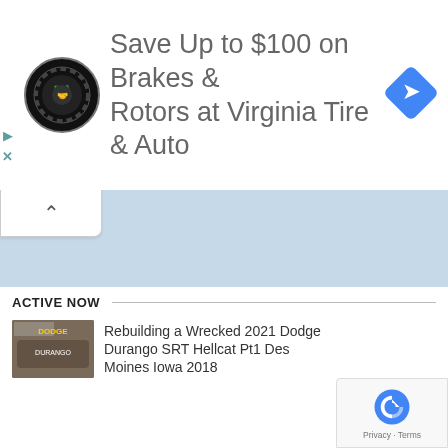[Figure (screenshot): Advertisement banner for Virginia Tire & Auto showing logo, headline text 'Save Up to $100 on Brakes & Rotors at Virginia Tire & Auto', and a blue navigation diamond icon]
[Figure (screenshot): Light blue map/content area below the advertisement]
ACTIVE NOW
[Figure (screenshot): Video thumbnail for 'Rebuilding a Wrecked 2021 Dodge Durango SRT Hellcat Pt1 Des Moines Iowa 2018']
Rebuilding a Wrecked 2021 Dodge Durango SRT Hellcat Pt1 Des Moines Iowa 2018
[Figure (logo): Google reCAPTCHA badge with Privacy and Terms links]